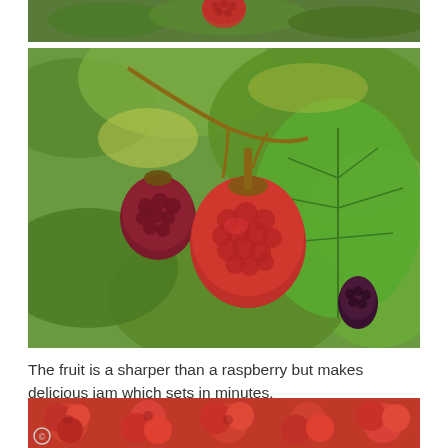[Figure (photo): Top portion of a raspberry/tayberry plant showing red berries and green leaves, cropped view]
[Figure (photo): Close-up photograph of tayberry or loganberry fruits on the vine surrounded by green serrated leaves. Two dark red/purple berries visible along with one ripe red raspberry-like fruit in the center.]
The fruit is a sharper than a raspberry but makes delicious jam which sets in minutes.
[Figure (photo): Partial view of red berries, cropped at bottom of page]